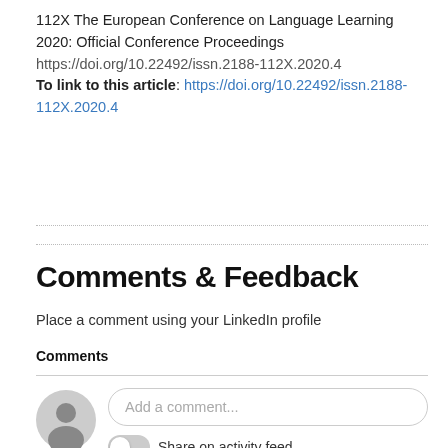112X The European Conference on Language Learning 2020: Official Conference Proceedings
https://doi.org/10.22492/issn.2188-112X.2020.4
To link to this article: https://doi.org/10.22492/issn.2188-112X.2020.4
Comments & Feedback
Place a comment using your LinkedIn profile
Comments
[Figure (screenshot): LinkedIn comment widget with avatar, text input field saying 'Add a comment...', a toggle switch for 'Share on activity feed', and a 'Post with LinkedIn' button]